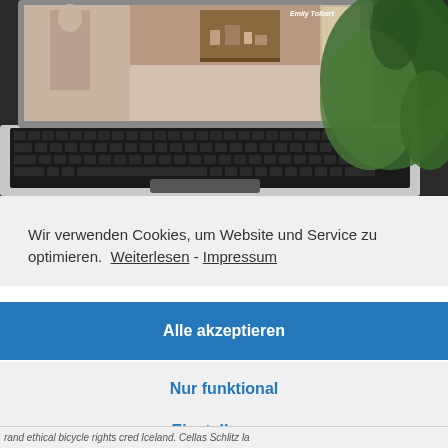[Figure (photo): Photo of a laptop computer with a screen showing an interior scene with a standing figure. The laptop keyboard is visible, and a green plant is partially visible in the foreground right side.]
Wir verwenden Cookies, um Website und Service zu optimieren.  Weiterlesen - Impressum
Alle akzeptieren
Nur funktional
Einstellungen
rand ethical bicycle rights cred Iceland. Cellas Schlitz la